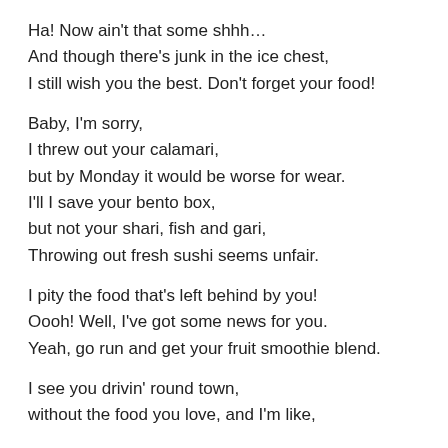Ha! Now ain't that some shhh…
And though there's junk in the ice chest,
I still wish you the best. Don't forget your food!
Baby, I'm sorry,
I threw out your calamari,
but by Monday it would be worse for wear.
I'll I save your bento box,
but not your shari, fish and gari,
Throwing out fresh sushi seems unfair.
I pity the food that's left behind by you!
Oooh! Well, I've got some news for you.
Yeah, go run and get your fruit smoothie blend.
I see you drivin' round town,
without the food you love, and I'm like,